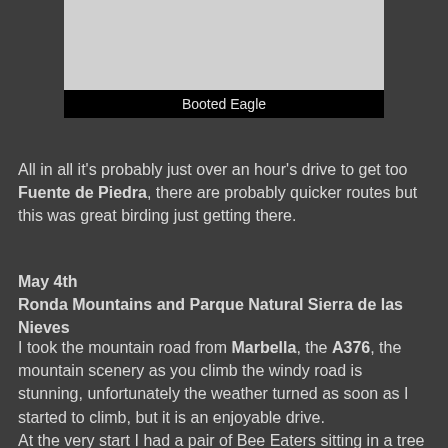[Figure (photo): Photo of a Booted Eagle]
Booted Eagle
All in all it's probably just over an hour's drive to get too Fuente de Piedra, there are probably quicker routes but this was great birding just getting there.
May 4th
Ronda Mountains and Parque Natural Sierra de las Nieves
I took the mountain road from Marbella, the A376, the mountain scenery as you climb the windy road is stunning, unfortunately the weather turned as soon as I started to climb, but it is an enjoyable drive.
At the very start I had a pair of Bee Eaters sitting in a tree with a pale phase Booted Eagle in the background, a good start as I headed up towards Ronda. As I climbed the weather got thicker with low cloud and rain but in between